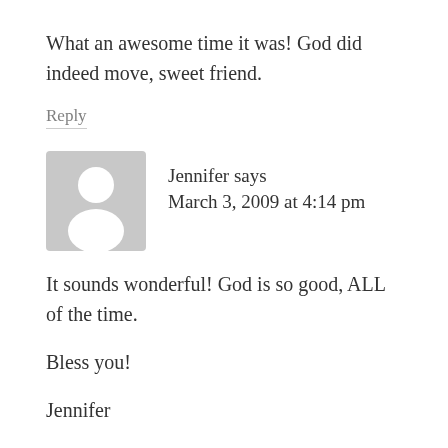What an awesome time it was! God did indeed move, sweet friend.
Reply
[Figure (illustration): Default user avatar icon — grey square with white silhouette of a person]
Jennifer says
March 3, 2009 at 4:14 pm
It sounds wonderful! God is so good, ALL of the time.
Bless you!
Jennifer